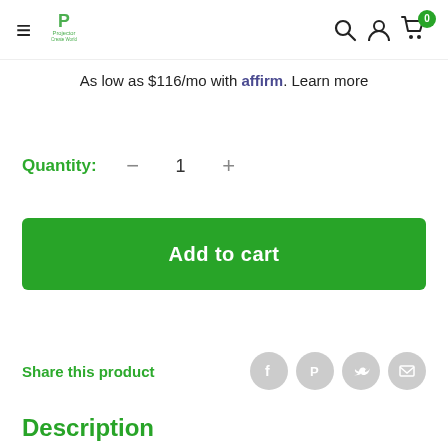Projector Create World — navigation bar with hamburger menu, logo, search, account, and cart (0)
As low as $116/mo with affirm. Learn more
Quantity: — 1 +
Add to cart
Share this product
Description